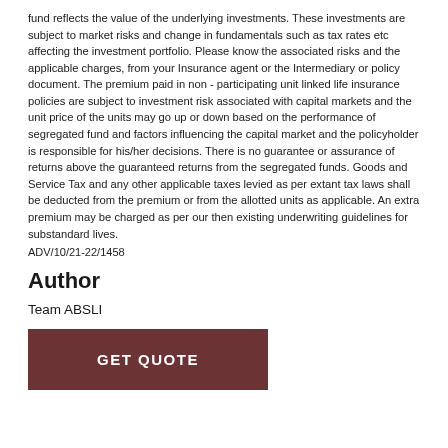fund reflects the value of the underlying investments. These investments are subject to market risks and change in fundamentals such as tax rates etc affecting the investment portfolio. Please know the associated risks and the applicable charges, from your Insurance agent or the Intermediary or policy document. The premium paid in non - participating unit linked life insurance policies are subject to investment risk associated with capital markets and the unit price of the units may go up or down based on the performance of segregated fund and factors influencing the capital market and the policyholder is responsible for his/her decisions. There is no guarantee or assurance of returns above the guaranteed returns from the segregated funds. Goods and Service Tax and any other applicable taxes levied as per extant tax laws shall be deducted from the premium or from the allotted units as applicable. An extra premium may be charged as per our then existing underwriting guidelines for substandard lives.
ADV/10/21-22/1458
Author
Team ABSLI
[Figure (other): GET QUOTE button — dark brown rectangular button with white bold uppercase text]